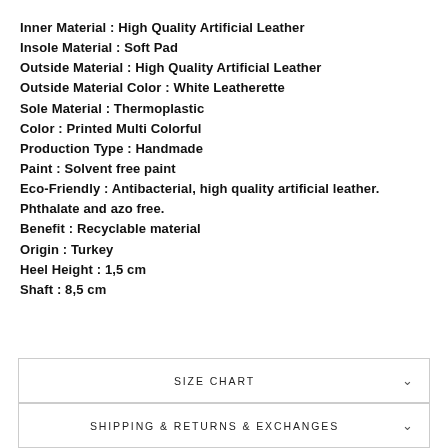Inner Material : High Quality Artificial Leather
Insole Material : Soft Pad
Outside Material : High Quality Artificial Leather
Outside Material Color : White Leatherette
Sole Material : Thermoplastic
Color : Printed Multi Colorful
Production Type : Handmade
Paint : Solvent free paint
Eco-Friendly : Antibacterial, high quality artificial leather. Phthalate and azo free.
Benefit : Recyclable material
Origin : Turkey
Heel Height : 1,5 cm
Shaft : 8,5 cm
SIZE CHART
SHIPPING & RETURNS & EXCHANGES